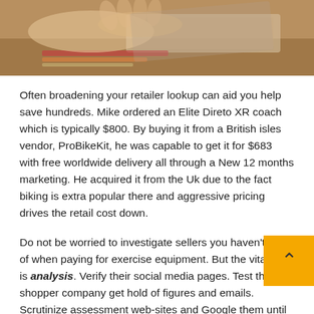[Figure (photo): Photo of hands near a laptop or tablet, warm toned]
Often broadening your retailer lookup can aid you help save hundreds. Mike ordered an Elite Direto XR coach which is typically $800. By buying it from a British isles vendor, ProBikeKit, he was capable to get it for $683 with free worldwide delivery all through a New 12 months marketing. He acquired it from the Uk due to the fact biking is extra popular there and aggressive pricing drives the retail cost down.
Do not be worried to investigate sellers you haven't read of when paying for exercise equipment. But the vital here is analysis. Verify their social media pages. Test their shopper company get hold of figures and emails. Scrutinize assessment web-sites and Google them until finally you experience self-confident that they're safe and sound. If you are ever hesitant, attain out to us on Fb and we'll aid you investigation.